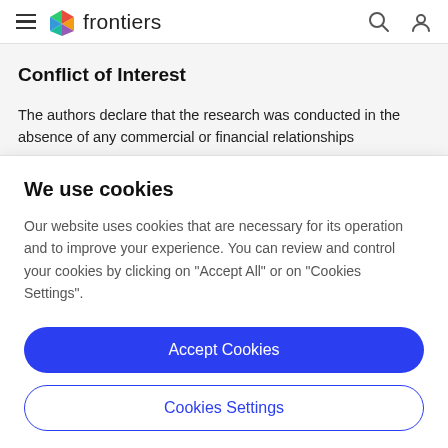frontiers
Conflict of Interest
The authors declare that the research was conducted in the absence of any commercial or financial relationships
We use cookies
Our website uses cookies that are necessary for its operation and to improve your experience. You can review and control your cookies by clicking on "Accept All" or on "Cookies Settings".
Accept Cookies
Cookies Settings